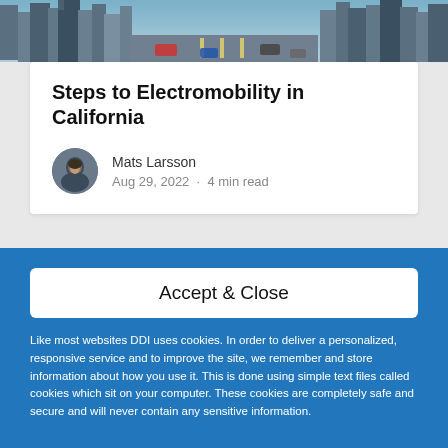[Figure (photo): Top portion of a city street scene with tall buildings, cropped at the top of the page]
Steps to Electromobility in California
Mats Larsson
Aug 29, 2022 · 4 min read
Accept & Close
Like most websites DDI uses cookies. In order to deliver a personalized, responsive service and to improve the site, we remember and store information about how you use it. This is done using simple text files called cookies which sit on your computer. These cookies are completely safe and secure and will never contain any sensitive information.